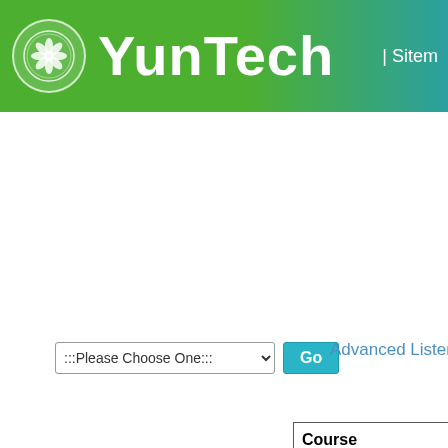[Figure (logo): YunTech university logo — circular emblem with floral/leaf pattern in white on green/teal gradient header background]
YunTech | Sitemap
:::Please Choose One:::
Go
Advanced Listening an
| Course |
| --- |
| Advanced Listening an |